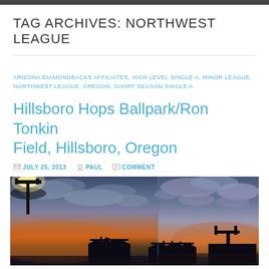TAG ARCHIVES: NORTHWEST LEAGUE
ARIZONA DIAMONDBACKS AFFILIATES, HIGH LEVEL SINGLE A, MINOR LEAGUE, NORTHWEST LEAGUE, OREGON, SHORT SEASON SINGLE A
Hillsboro Hops Ballpark/Ron Tonkin Field, Hillsboro, Oregon
JULY 25, 2013  PAUL  COMMENT
[Figure (photo): Sunset/dusk photo of Hillsboro Hops ballpark (Ron Tonkin Field) showing stadium light poles and structures silhouetted against a dramatic orange and blue sunset sky with clouds]